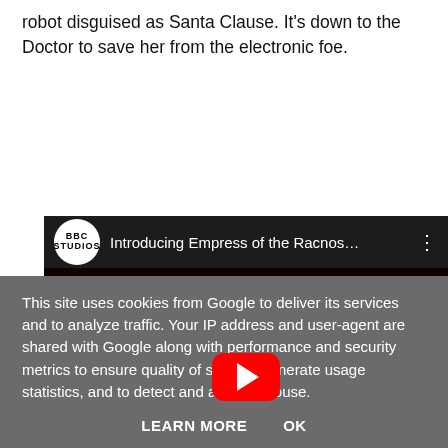robot disguised as Santa Clause. It's down to the Doctor to save her from the electronic foe.
[Figure (screenshot): YouTube video embed showing 'Introducing Empress of the Racnos...' by BBC Studios, with a creature face thumbnail and red play button]
This site uses cookies from Google to deliver its services and to analyze traffic. Your IP address and user-agent are shared with Google along with performance and security metrics to ensure quality of service, generate usage statistics, and to detect and address abuse.
LEARN MORE   OK